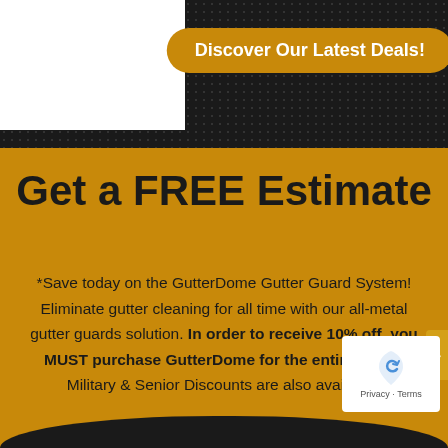Discover Our Latest Deals!
Get a FREE Estimate
*Save today on the GutterDome Gutter Guard System! Eliminate gutter cleaning for all time with our all-metal gutter guards solution. In order to receive 10% off, you MUST purchase GutterDome for the entire home. Military & Senior Discounts are also available.